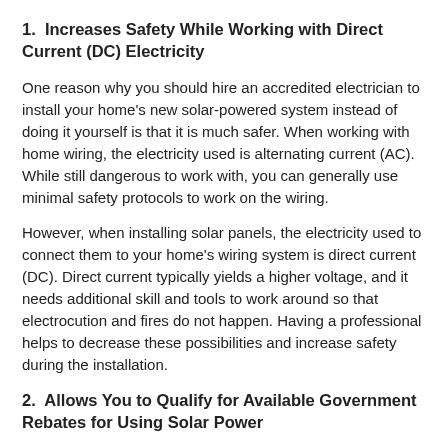1.  Increases Safety While Working with Direct Current (DC) Electricity
One reason why you should hire an accredited electrician to install your home's new solar-powered system instead of doing it yourself is that it is much safer. When working with home wiring, the electricity used is alternating current (AC). While still dangerous to work with, you can generally use minimal safety protocols to work on the wiring.
However, when installing solar panels, the electricity used to connect them to your home's wiring system is direct current (DC). Direct current typically yields a higher voltage, and it needs additional skill and tools to work around so that electrocution and fires do not happen. Having a professional helps to decrease these possibilities and increase safety during the installation.
2.  Allows You to Qualify for Available Government Rebates for Using Solar Power
Another reason why you want to hire an electrician who has the proper accreditation for installing solar systems is that doing so allows you to qualify for any government rebate programs for using such systems in your area. Because you will be connecting to the